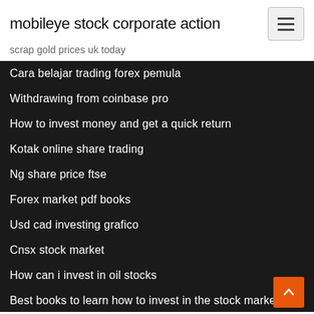mobileye stock corporate action
scrap gold prices uk today
Cara belajar trading forex pemula
Withdrawing from coinbase pro
How to invest money and get a quick return
Kotak online share trading
Ng share price ftse
Forex market pdf books
Usd cad investing grafico
Cnsx stock market
How can i invest in oil stocks
Best books to learn how to invest in the stock market